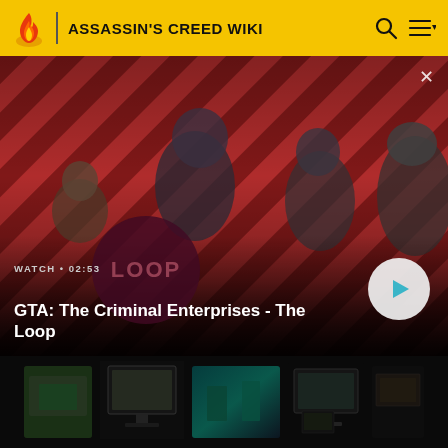ASSASSIN'S CREED WIKI
[Figure (screenshot): Video banner showing GTA: The Criminal Enterprises - The Loop promotional image with four characters on a red diagonal striped background. Shows WATCH • 02:53 label, The Loop circular logo watermark, and a play button.]
WATCH • 02:53
GTA: The Criminal Enterprises - The Loop
[Figure (screenshot): Thumbnail grid section showing multiple game screenshots on monitors in a dark background setting]